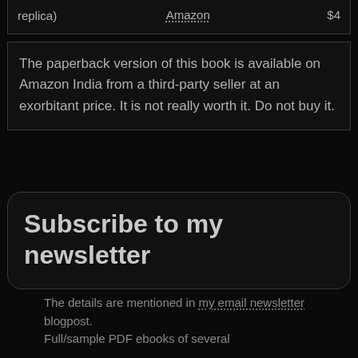replica)  Amazon  $4
The paperback version of this book is available on Amazon India from a third-party seller at an exorbitant price. It is not really worth it. Do not buy it.
Subscribe to my newsletter
The details are mentioned in my email newsletter blogpost. Full/sample PDF ebooks of several